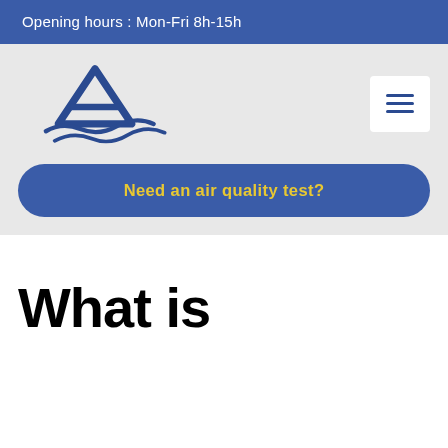Opening hours : Mon-Fri 8h-15h
[Figure (logo): Air Quality Testing logo — a stylized letter A in dark blue with wave swooshes underneath, followed by bold text AIR QUALITY TESTING]
[Figure (other): Hamburger menu button — three horizontal blue lines on white background]
Need an air quality test?
What is